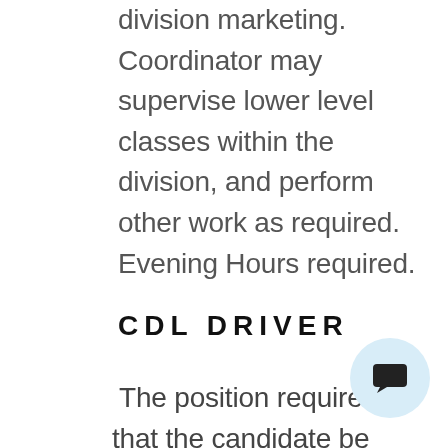division marketing. Coordinator may supervise lower level classes within the division, and perform other work as required. Evening Hours required.
CDL DRIVER
The position requires that the candidate be responsible for safe and timely operation of company vehicle on a scheduled run and / or on last minute transport requests. The driver is required to possess a thorough knowledge of passenger safety, ability to maintain courtesy under stress, when dealing with our customer base and the